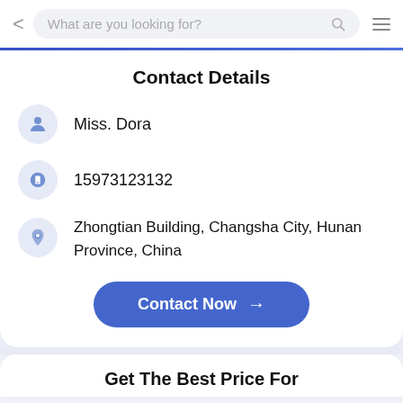What are you looking for?
Contact Details
Miss. Dora
15973123132
Zhongtian Building, Changsha City, Hunan Province, China
Contact Now →
Get The Best Price For